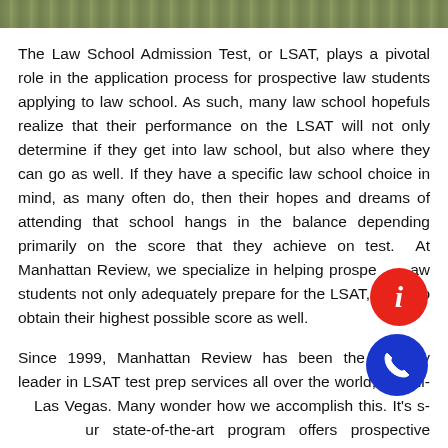[Figure (photo): Partial photo strip at top of page showing a street or building scene]
The Law School Admission Test, or LSAT, plays a pivotal role in the application process for prospective law students applying to law school. As such, many law school hopefuls realize that their performance on the LSAT will not only determine if they get into law school, but also where they can go as well. If they have a specific law school choice in mind, as many often do, then their hopes and dreams of attending that school hangs in the balance depending primarily on the score that they achieve on test. At Manhattan Review, we specialize in helping prospective law students not only adequately prepare for the LSAT, but also obtain their highest possible score as well.
Since 1999, Manhattan Review has been the industry leader in LSAT test prep services all over the world, including Las Vegas. Many wonder how we accomplish this. It's simple. Our state-of-the-art program offers prospective law students something that no other test prep service does: the ability to customize their own exam preparation according to their individual needs.